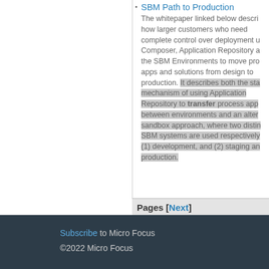SBM Path to Production – The whitepaper linked below describes how larger customers who need complete control over deployment using Composer, Application Repository and the SBM Environments to move process apps and solutions from design to production. It describes both the standard mechanism of using Application Repository to transfer process apps between environments and an alternative sandbox approach, where two distinct SBM systems are used respectively for (1) development, and (2) staging and production.
Pages [Next]
Subscribe to Micro Focus ©2022 Micro Focus